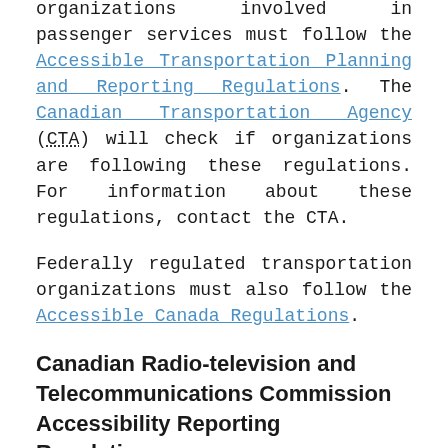organizations involved in passenger services must follow the Accessible Transportation Planning and Reporting Regulations. The Canadian Transportation Agency (CTA) will check if organizations are following these regulations. For information about these regulations, contact the CTA.
Federally regulated transportation organizations must also follow the Accessible Canada Regulations.
Canadian Radio-television and Telecommunications Commission Accessibility Reporting Regulations
All broadcasting (radio and television) and